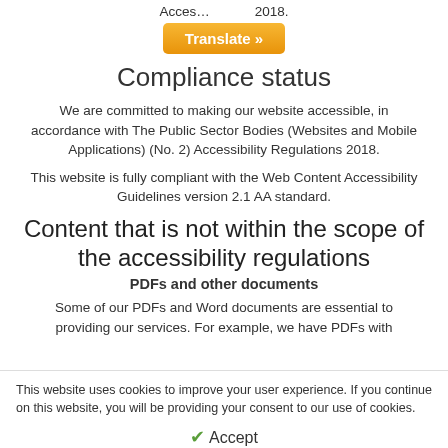Acces... 2018.
[Figure (other): Orange 'Translate »' button]
Compliance status
We are committed to making our website accessible, in accordance with The Public Sector Bodies (Websites and Mobile Applications) (No. 2) Accessibility Regulations 2018.
This website is fully compliant with the Web Content Accessibility Guidelines version 2.1 AA standard.
Content that is not within the scope of the accessibility regulations
PDFs and other documents
Some of our PDFs and Word documents are essential to providing our services. For example, we have PDFs with
This website uses cookies to improve your user experience. If you continue on this website, you will be providing your consent to our use of cookies.
✓ Accept